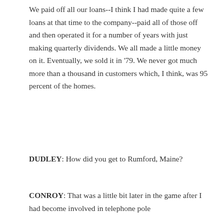We paid off all our loans--I think I had made quite a few loans at that time to the company--paid all of those off and then operated it for a number of years with just making quarterly dividends. We all made a little money on it. Eventually, we sold it in '79. We never got much more than a thousand in customers which, I think, was 95 percent of the homes.
DUDLEY: How did you get to Rumford, Maine?
CONROY: That was a little bit later in the game after I had become involved in telephone pole